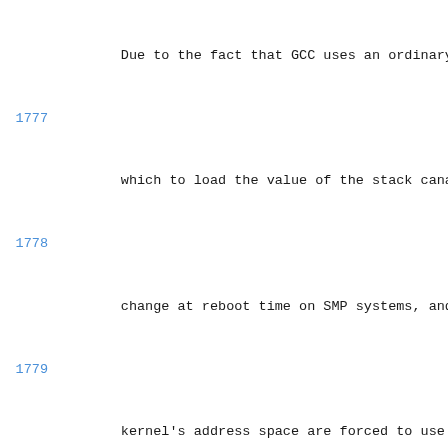Code listing lines 1776-1794 from a Linux kernel Kconfig file showing stack canary and Boot options configuration
1776: (continuation) Due to the fact that GCC uses an ordinary symb
1777: (blank)
1777 cont: which to load the value of the stack canary, t
1778: change at reboot time on SMP systems, and all
1779: kernel's address space are forced to use the s
1780: the entire duration that the system is up.
1781: (blank)
1782: Enable this option to switch to a different me
1783:         different canary value for each task.
1784: (blank)
1785: endmenu
1786: (blank)
1787: menu "Boot options"
1788: (blank)
1789: config USE_OF
1790:         bool "Flattened Device Tree support"
1791:         select IRQ_DOMAIN
1792:         select OF
1793:         help
1794: (blank)